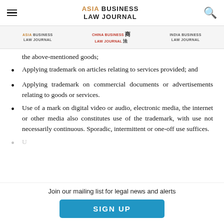ASIA BUSINESS LAW JOURNAL
[Figure (logo): Asia Business Law Journal, China Business Law Journal, India Business Law Journal logos in sub-header]
the above-mentioned goods;
Applying trademark on articles relating to services provided; and
Applying trademark on commercial documents or advertisements relating to goods or services.
Use of a mark on digital video or audio, electronic media, the internet or other media also constitutes use of the trademark, with use not necessarily continuous. Sporadic, intermittent or one-off use suffices.
Join our mailing list for legal news and alerts  SIGN UP